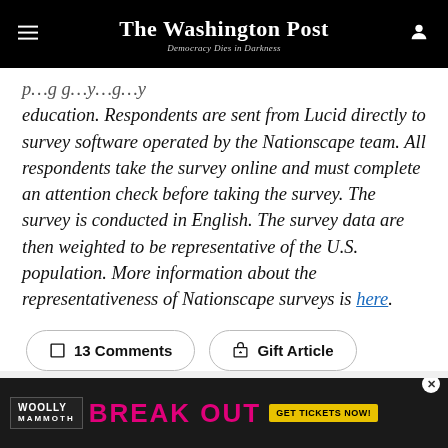The Washington Post — Democracy Dies in Darkness
education. Respondents are sent from Lucid directly to survey software operated by the Nationscape team. All respondents take the survey online and must complete an attention check before taking the survey. The survey is conducted in English. The survey data are then weighted to be representative of the U.S. population. More information about the representativeness of Nationscape surveys is here.
[Figure (other): Two buttons: '13 Comments' and 'Gift Article']
[Figure (other): Advertisement banner for Woolly Mammoth Theatre 'BREAK OUT' show with 'GET TICKETS NOW' call to action]